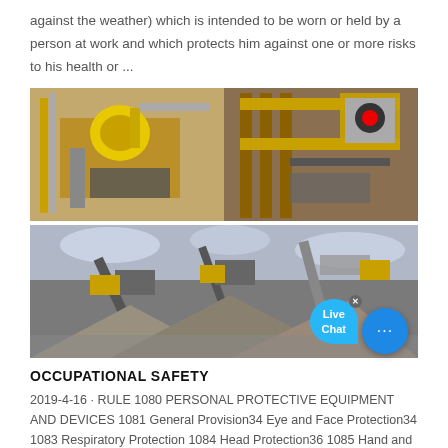against the weather) which is intended to be worn or held by a person at work and which protects him against one or more risks to his health or ...
[Figure (photo): Two industrial mining/crushing machinery photos: top half shows yellow heavy machinery and conveyor structures with a Live Chat bubble overlay; bottom half shows outdoor quarry/mining conveyor equipment with gravel piles.]
OCCUPATIONAL SAFETY
2019-4-16 · RULE 1080 PERSONAL PROTECTIVE EQUIPMENT AND DEVICES 1081 General Provision34 Eye and Face Protection34 1083 Respiratory Protection 1084 Head Protection36 1085 Hand and Arm Protection37